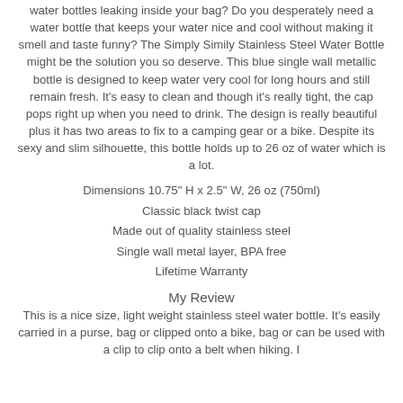water bottles leaking inside your bag? Do you desperately need a water bottle that keeps your water nice and cool without making it smell and taste funny? The Simply Simily Stainless Steel Water Bottle might be the solution you so deserve. This blue single wall metallic bottle is designed to keep water very cool for long hours and still remain fresh. It's easy to clean and though it's really tight, the cap pops right up when you need to drink. The design is really beautiful plus it has two areas to fix to a camping gear or a bike. Despite its sexy and slim silhouette, this bottle holds up to 26 oz of water which is a lot.
Dimensions 10.75" H x 2.5" W, 26 oz (750ml)
Classic black twist cap
Made out of quality stainless steel
Single wall metal layer, BPA free
Lifetime Warranty
My Review
This is a nice size, light weight stainless steel water bottle. It's easily carried in a purse, bag or clipped onto a bike, bag or can be used with a clip to clip onto a belt when hiking. I